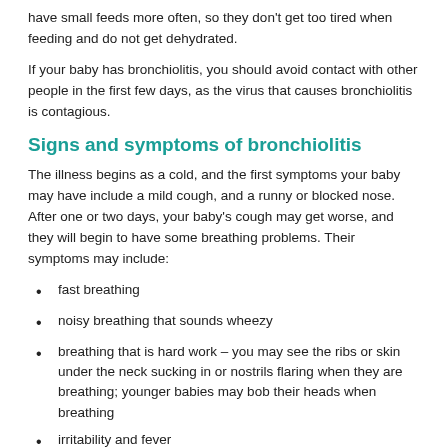have small feeds more often, so they don't get too tired when feeding and do not get dehydrated.
If your baby has bronchiolitis, you should avoid contact with other people in the first few days, as the virus that causes bronchiolitis is contagious.
Signs and symptoms of bronchiolitis
The illness begins as a cold, and the first symptoms your baby may have include a mild cough, and a runny or blocked nose. After one or two days, your baby's cough may get worse, and they will begin to have some breathing problems. Their symptoms may include:
fast breathing
noisy breathing that sounds wheezy
breathing that is hard work – you may see the ribs or skin under the neck sucking in or nostrils flaring when they are breathing; younger babies may bob their heads when breathing
irritability and fever
difficulties eating or drinking.
Symptoms are usually worst on the second or third day, and your baby may be sick for up to 10 days. Their cough may continue for up to four weeks.